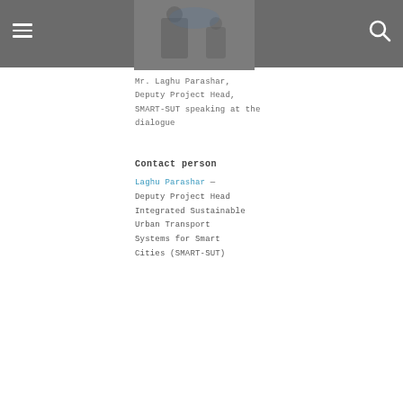[Figure (photo): Photo of Mr. Laghu Parashar speaking at a dialogue event, partially visible at top of page]
Mr. Laghu Parashar, Deputy Project Head, SMART-SUT speaking at the dialogue
Contact person
Laghu Parashar — Deputy Project Head Integrated Sustainable Urban Transport Systems for Smart Cities (SMART-SUT)